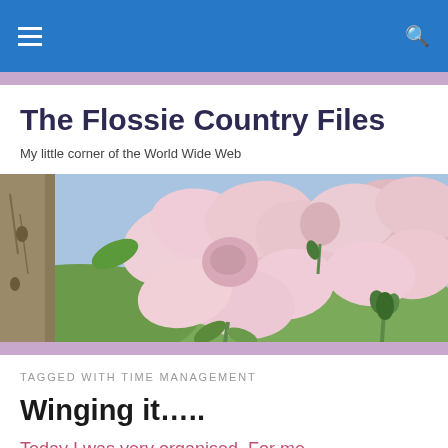Navigation bar with hamburger menu and search icon
The Flossie Country Files
My little corner of the World Wide Web
[Figure (photo): Close-up photograph of pink roses/flowers against a blurred green countryside background with blue sky]
TAGGED WITH TIME MANAGEMENT
Winging it…..
Today I was very organised. For me